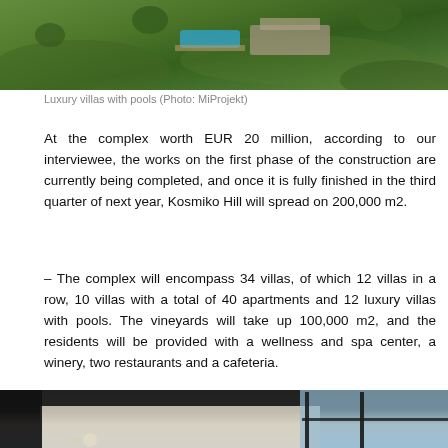[Figure (photo): Aerial view of luxury villas with pools surrounded by greenery]
Luxury villas with pools (Photo: MiProjekt)
At the complex worth EUR 20 million, according to our interviewee, the works on the first phase of the construction are currently being completed, and once it is fully finished in the third quarter of next year, Kosmiko Hill will spread on 200,000 m2.
– The complex will encompass 34 villas, of which 12 villas in a row, 10 villas with a total of 40 apartments and 12 luxury villas with pools. The vineyards will take up 100,000 m2, and the residents will be provided with a wellness and spa center, a winery, two restaurants and a cafeteria.
[Figure (photo): Interior view of a modern villa with large windows and minimalist design]